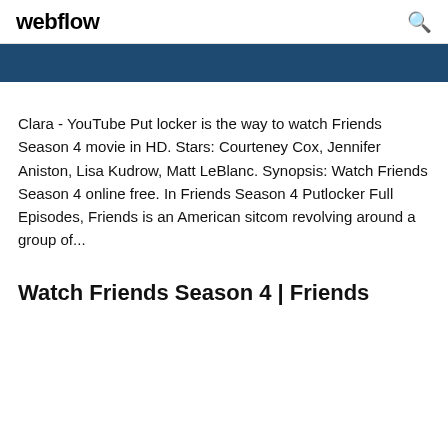webflow
[Figure (other): Dark blue navigation bar strip]
Clara - YouTube Put locker is the way to watch Friends Season 4 movie in HD. Stars: Courteney Cox, Jennifer Aniston, Lisa Kudrow, Matt LeBlanc. Synopsis: Watch Friends Season 4 online free. In Friends Season 4 Putlocker Full Episodes, Friends is an American sitcom revolving around a group of...
Watch Friends Season 4 | Friends